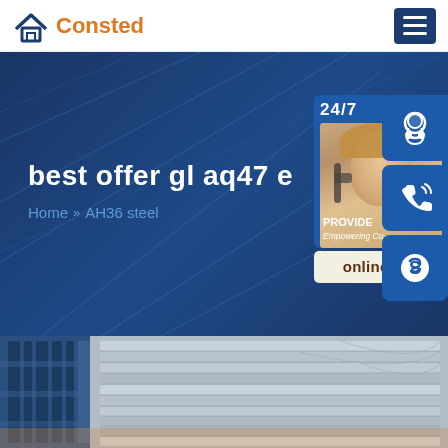Consted
best offer gl aq47 e
Home >> AH36 steel
[Figure (photo): Customer service representative with headset, with 24/7 support panel, phone icon, Skype icon, and online live chat button. Text: 24/7, PROVIDE, Empowering Cu, online live]
[Figure (photo): Steel plates stacked in a warehouse or yard, showing layered metal sheets with blue frame structure on the left]